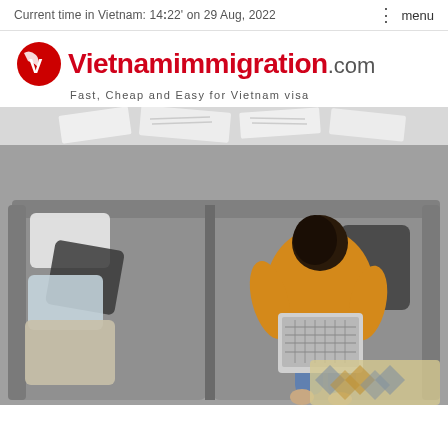Current time in Vietnam: 14:22' on 29 Aug, 2022   ⋮ menu
[Figure (logo): Vietnamimmigration.com logo with red V swoosh icon, red bold 'Vietnamimmigration' text, gray '.com' text, and tagline 'Fast, Cheap and Easy for Vietnam visa']
[Figure (photo): Aerial top-down view of a woman in a yellow sweater and blue jeans sitting on a gray couch, working on a laptop. The couch has various pillows. A patterned rug is visible in the bottom right corner.]